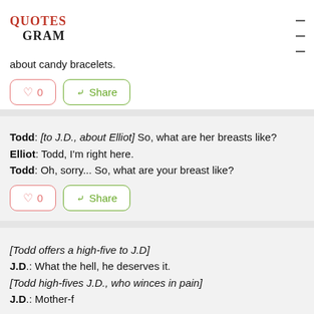QUOTESGRAM
about candy bracelets.
Todd: [to J.D., about Elliot] So, what are her breasts like?
Elliot: Todd, I'm right here.
Todd: Oh, sorry... So, what are your breast like?
[Todd offers a high-five to J.D]
J.D.: What the hell, he deserves it.
[Todd high-fives J.D., who winces in pain]
J.D.: Mother-f